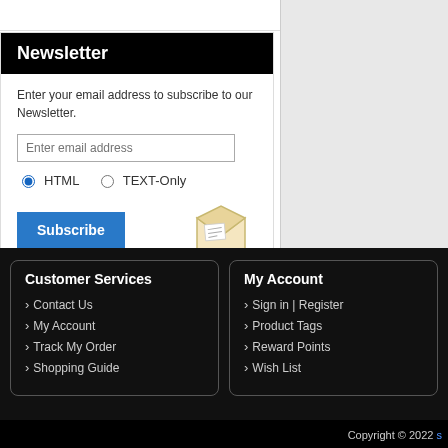Newsletter
Enter your email address to subscribe to our Newsletter.
Enter email address
HTML  TEXT-Only
Subscribe
Customer Services
Contact Us
My Account
Track My Order
Shopping Guide
My Account
Sign in | Register
Product Tags
Reward Points
Wish List
Copyright © 2022 s